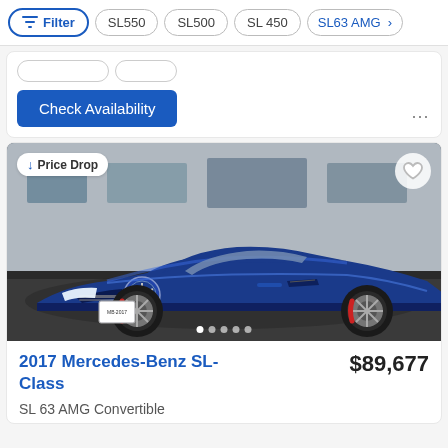Filter | SL550 | SL500 | SL 450 | SL63 AMG
Check Availability
[Figure (photo): A blue 2017 Mercedes-Benz SL-Class SL 63 AMG Convertible at a dealership, parked in a lot with brick building in background. The car is a sporty convertible with the top down, featuring red brake calipers and chrome alloy wheels.]
2017 Mercedes-Benz SL-Class
$89,677
SL 63 AMG Convertible